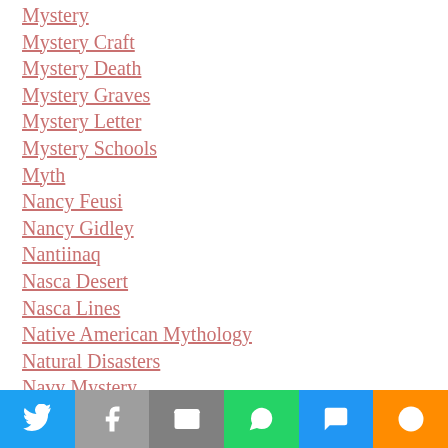Mystery
Mystery Craft
Mystery Death
Mystery Graves
Mystery Letter
Mystery Schools
Myth
Nancy Feusi
Nancy Gidley
Nantiinaq
Nasca Desert
Nasca Lines
Native American Mythology
Natural Disasters
Navy Mystery
Nazi Ss Officer
Neanderthals